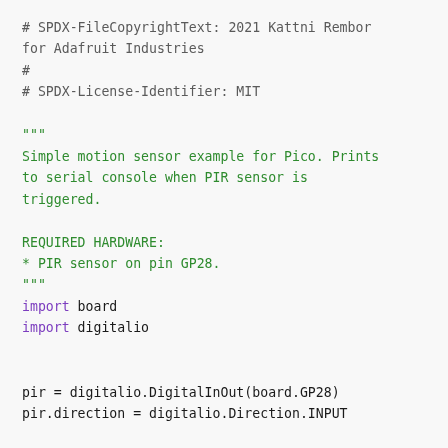# SPDX-FileCopyrightText: 2021 Kattni Rembor for Adafruit Industries
#
# SPDX-License-Identifier: MIT

"""
Simple motion sensor example for Pico. Prints to serial console when PIR sensor is triggered.

REQUIRED HARDWARE:
* PIR sensor on pin GP28.
"""
import board
import digitalio

pir = digitalio.DigitalInOut(board.GP28)
pir.direction = digitalio.Direction.INPUT

while True:
    if pir.value:
        print("ALARM! Motion detected!")